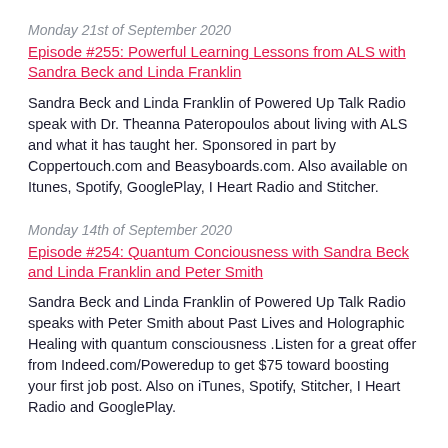Monday 21st of September 2020
Episode #255: Powerful Learning Lessons from ALS with Sandra Beck and Linda Franklin
Sandra Beck and Linda Franklin of Powered Up Talk Radio speak with Dr. Theanna Pateropoulos about living with ALS and what it has taught her. Sponsored in part by Coppertouch.com and Beasyboards.com. Also available on Itunes, Spotify, GooglePlay, I Heart Radio and Stitcher.
Monday 14th of September 2020
Episode #254: Quantum Conciousness with Sandra Beck and Linda Franklin and Peter Smith
Sandra Beck and Linda Franklin of Powered Up Talk Radio speaks with Peter Smith about Past Lives and Holographic Healing with quantum consciousness .Listen for a great offer from Indeed.com/Poweredup to get $75 toward boosting your first job post. Also on iTunes, Spotify, Stitcher, I Heart Radio and GooglePlay.